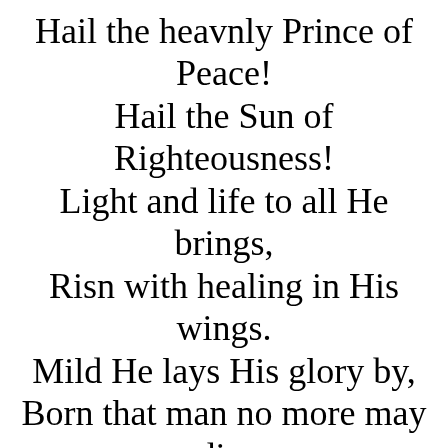Hail the heavnly Prince of Peace! Hail the Sun of Righteousness! Light and life to all He brings, Risn with healing in His wings. Mild He lays His glory by, Born that man no more may die. Born to raise the sons of earth,